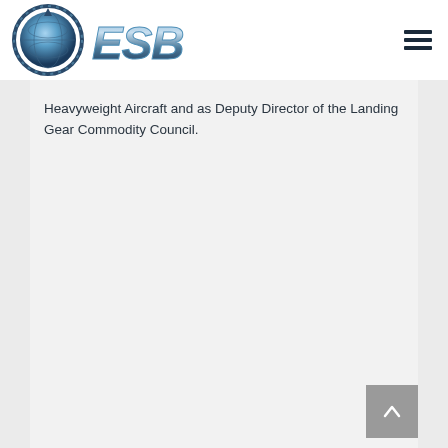[Figure (logo): GES3 company logo — circular globe icon with ESB/GES3 stylized text in metallic blue lettering]
Heavyweight Aircraft and as Deputy Director of the Landing Gear Commodity Council.